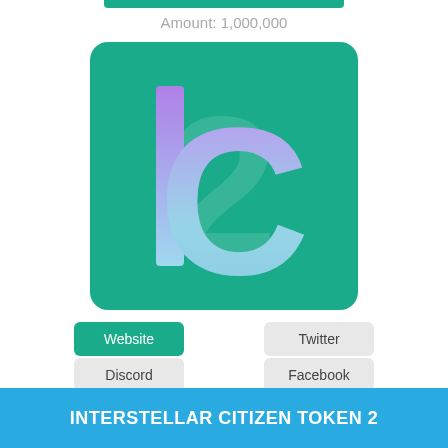Amount: 1,000,000
[Figure (logo): I2C logo on teal rounded square background with large stylized letters I and C in purple-to-cyan gradient, with a large '2' watermark behind them]
Website
Twitter
Discord
Facebook
INTERSTELLAR CITIZEN TOKEN 2